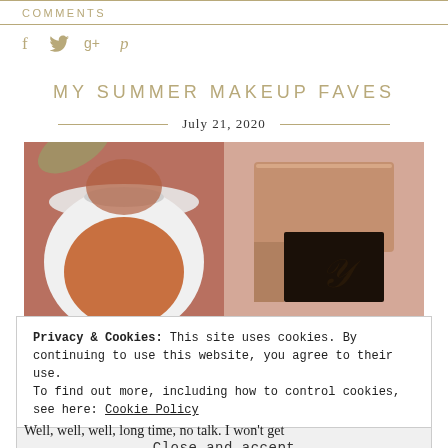COMMENTS
[Figure (other): Social media share icons: Facebook (f), Twitter (bird), Google+ (g+), Pinterest (p) in gold/tan color]
MY SUMMER MAKEUP FAVES
July 21, 2020
[Figure (photo): Two makeup products side by side: a round compact powder/bronzer with white case on the left, and a rose gold YSL product on the right, on a pink background]
Privacy & Cookies: This site uses cookies. By continuing to use this website, you agree to their use.
To find out more, including how to control cookies, see here: Cookie Policy
Close and accept
Well, well, well, long time, no talk. I won't get